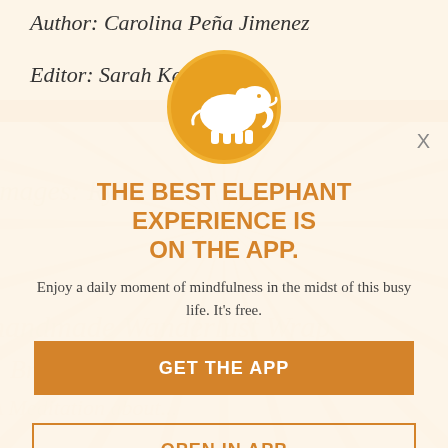Author: Carolina Peña Jimenez
Editor: Sarah Kelkko
[Figure (illustration): App promotion modal overlay with elephant logo icon on orange circle background, diagonal ray pattern watermark, close X button]
THE BEST ELEPHANT EXPERIENCE IS ON THE APP.
Enjoy a daily moment of mindfulness in the midst of this busy life. It's free.
GET THE APP
OPEN IN APP